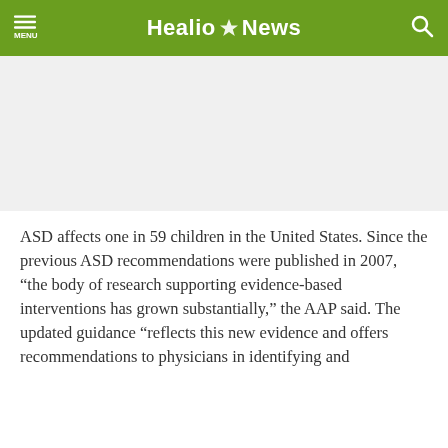Healio News
[Figure (other): Advertisement or blank space area below the navigation header]
ASD affects one in 59 children in the United States. Since the previous ASD recommendations were published in 2007, “the body of research supporting evidence-based interventions has grown substantially,” the AAP said. The updated guidance “reflects this new evidence and offers recommendations to physicians in identifying and